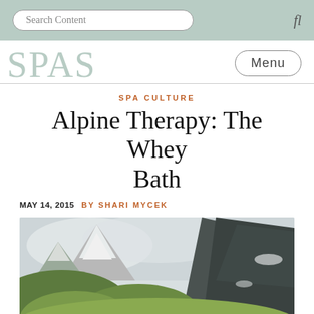Search Content
SPAS
SPA CULTURE
Alpine Therapy: The Whey Bath
MAY 14, 2015  BY SHARI MYCEK
[Figure (photo): Alpine mountain landscape with cows grazing on a green meadow. Snow-capped peaks visible in background on the left, steep dark rocky mountain slopes on the right. A light brown and white cow grazes in the foreground near wooden fence posts.]